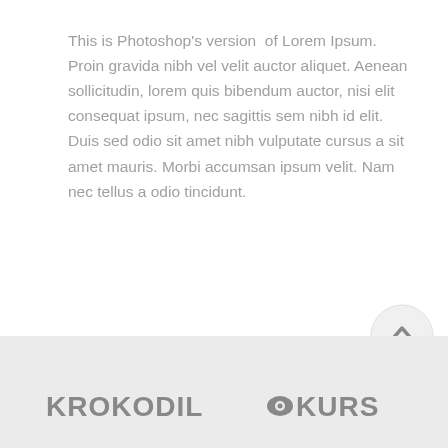This is Photoshop's version  of Lorem Ipsum. Proin gravida nibh vel velit auctor aliquet. Aenean sollicitudin, lorem quis bibendum auctor, nisi elit consequat ipsum, nec sagittis sem nibh id elit. Duis sed odio sit amet nibh vulputate cursus a sit amet mauris. Morbi accumsan ipsum velit. Nam nec tellus a odio tincidunt.
[Figure (other): Scroll-to-top circular button with upward arrow]
KROKODIL | KURS